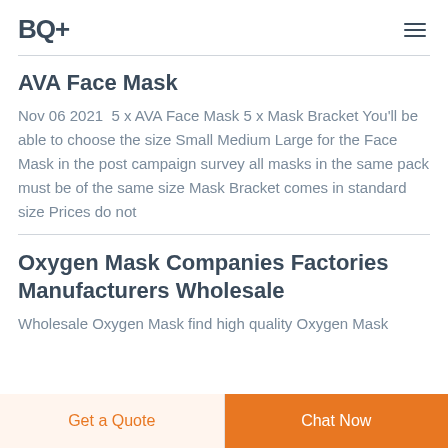BQ+
AVA Face Mask
Nov 06 2021  5 x AVA Face Mask 5 x Mask Bracket You'll be able to choose the size Small Medium Large for the Face Mask in the post campaign survey all masks in the same pack must be of the same size Mask Bracket comes in standard size Prices do not
Oxygen Mask Companies Factories Manufacturers Wholesale
Wholesale Oxygen Mask find high quality Oxygen Mask
Get a Quote  Chat Now